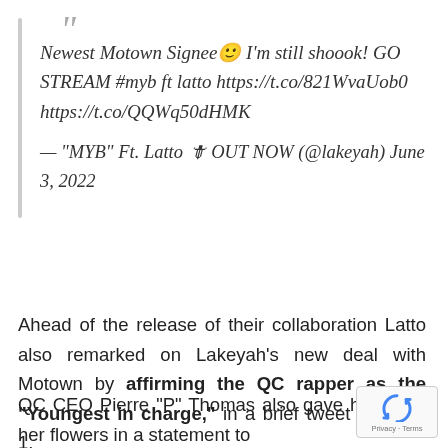Newest Motown Signee🙂 I'm still shoook! GO STREAM #myb ft latto https://t.co/821WvaUob0 https://t.co/QQWq50dHMK — "MYB" Ft. Latto 🗡️ OUT NOW (@lakeyah) June 3, 2022
Ahead of the release of their collaboration Latto also remarked on Lakeyah's new deal with Motown by affirming the QC rapper as the "Youngest in charge," in a brief tweet on June 1.
QC CEO Pierre "P" Thomas also gave his signee her flowers in a statement to